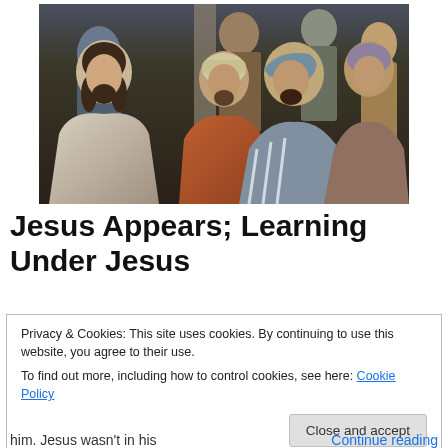[Figure (photo): A group of people in biblical-era robes and head coverings gathered together, appearing to be in conversation. The figure on the left wears a white/cream robe and appears to be Jesus. Several other figures in colorful Middle Eastern garments surround him.]
Jesus Appears; Learning Under Jesus
Privacy & Cookies: This site uses cookies. By continuing to use this website, you agree to their use.
To find out more, including how to control cookies, see here: Cookie Policy
Close and accept
him. Jesus wasn't in his
Continue reading